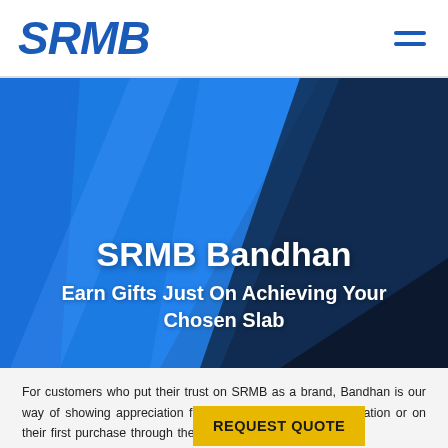SRMB
[Figure (illustration): Hero banner with diagonal blue and dark navy geometric shapes forming abstract background with text overlay: SRMB Bandhan, Earn Gifts Just On Achieving Your Chosen Slab]
SRMB Bandhan
Earn Gifts Just On Achieving Your Chosen Slab
For customers who put their trust on SRMB as a brand, Bandhan is our way of showing appreciation for them. At the time of registration or on their first purchase through the online sales platform, customers sign an agreement. A certain amount of purchase (as per below mentioned slabs) made online